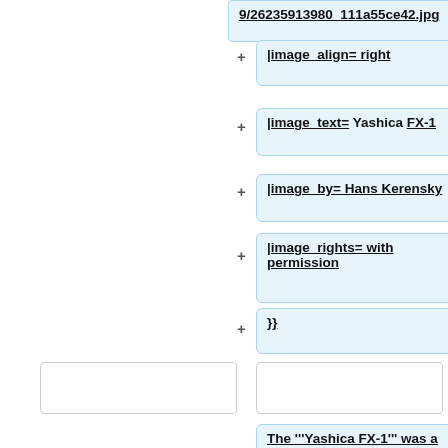9/26235913980_111a55ce42.jpg
+ |image_align= right
+ |image_text= Yashica FX-1
+ |image_by= Hans Kerensky
+ |image_rights=  with permission
+ }}
The '''Yashica FX-1''' was a 35mm film, mechanically operated, single lens reflex camera.  Introduced in 1975, it was the first [[Yashica]] SLR to be marketed with the [[Contax/Yashica lenses|Contax/Yashica